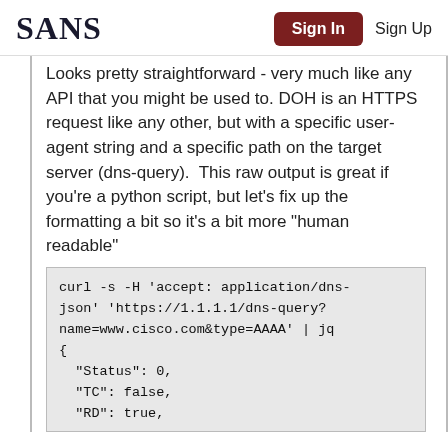SANS | Sign In | Sign Up
Looks pretty straightforward - very much like any API that you might be used to. DOH is an HTTPS request like any other, but with a specific user-agent string and a specific path on the target server (dns-query).  This raw output is great if you're a python script, but let's fix up the formatting a bit so it's a bit more "human readable"
curl -s -H 'accept: application/dns-json' 'https://1.1.1.1/dns-query?name=www.cisco.com&type=AAAA' | jq
{
  "Status": 0,
  "TC": false,
  "RD": true,